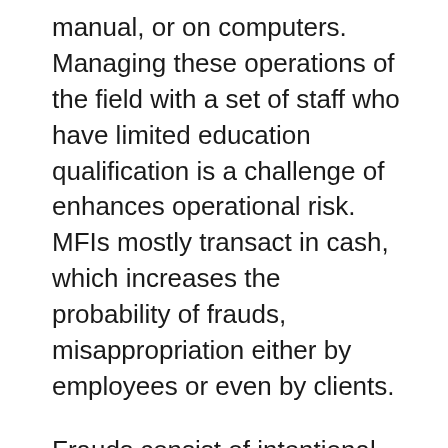manual, or on computers. Managing these operations of the field with a set of staff who have limited education qualification is a challenge of enhances operational risk. MFIs mostly transact in cash, which increases the probability of frauds, misappropriation either by employees or even by clients.
Frauds consist of intentional embezzlements and misappropriations careered out by the staff or client of an MFI. Frauds may vary in degree and the extent of financial damage caused to the MFI. But irrespective of the size of fraud, it brings disrepute to the MFI and threatens the credibility of the organization. Frauds can be caused by simple embezzlement of the organization's money to